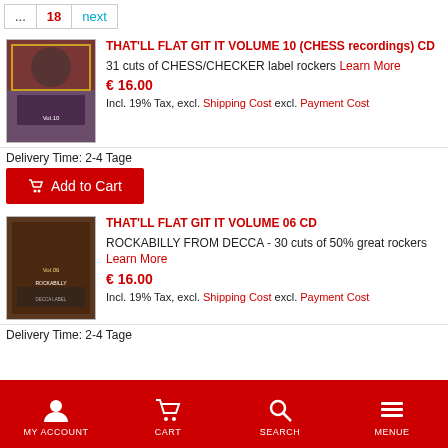... 18 next
[Figure (photo): Album cover for That'll Flat Git It Volume 10 Chess recordings]
THAT'LL FLAT GIT IT VOLUME 10 (CHESS recordings) CD
31 cuts of CHESS/CHECKER label rockers Learn More
€ 16.00
Incl. 19% Tax, excl. Shipping Cost excl. Payment Cost
Delivery Time: 2-4 Tage
Add to Cart
[Figure (photo): Album cover for That'll Flat Git It Volume 06 CD]
THAT'LL FLAT GIT IT VOLUME 06 CD
ROCKABILLY FROM DECCA - 30 cuts of 50% great rockers Learn More
€ 16.00
Incl. 19% Tax, excl. Shipping Cost excl. Payment Cost
Delivery Time: 2-4 Tage
MY ACCOUNT  CART  SEARCH  MENUE